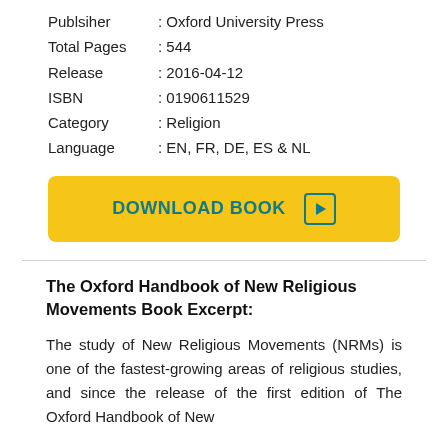Publsiher : Oxford University Press
Total Pages : 544
Release : 2016-04-12
ISBN : 0190611529
Category : Religion
Language : EN, FR, DE, ES & NL
[Figure (other): Download Book button with play icon, gold/yellow background, teal text]
The Oxford Handbook of New Religious Movements Book Excerpt:
The study of New Religious Movements (NRMs) is one of the fastest-growing areas of religious studies, and since the release of the first edition of The Oxford Handbook of New